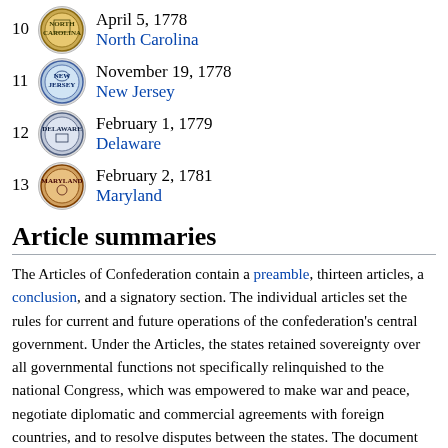10 North Carolina April 5, 1778
11 New Jersey November 19, 1778
12 Delaware February 1, 1779
13 Maryland February 2, 1781
Article summaries
The Articles of Confederation contain a preamble, thirteen articles, a conclusion, and a signatory section. The individual articles set the rules for current and future operations of the confederation's central government. Under the Articles, the states retained sovereignty over all governmental functions not specifically relinquished to the national Congress, which was empowered to make war and peace, negotiate diplomatic and commercial agreements with foreign countries, and to resolve disputes between the states. The document also stipulates that its provisions "shall be inviolably observed by every state" and that "the Union shall be